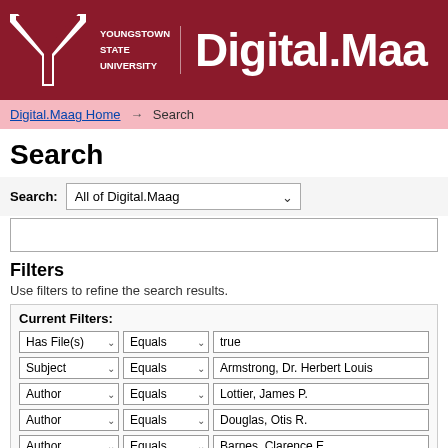[Figure (logo): Youngstown State University logo with Y symbol and Digital.Maa header]
Digital.Maag Home → Search
Search
Search: All of Digital.Maag
Filters
Use filters to refine the search results.
Current Filters:
Has File(s) ∨  Equals ∨  true
Subject ∨  Equals ∨  Armstrong, Dr. Herbert Louis
Author ∨  Equals ∨  Lottier, James P.
Author ∨  Equals ∨  Douglas, Otis R.
Author ∨  Equals ∨  Barnes, Clarence E.